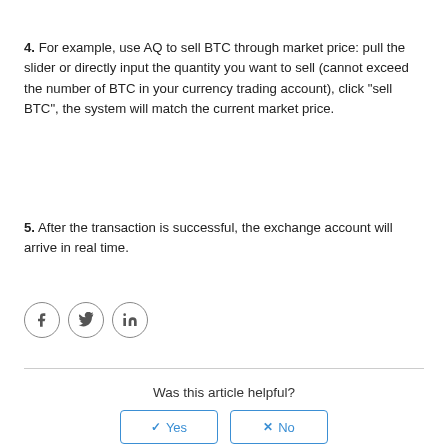4. For example, use AQ to sell BTC through market price: pull the slider or directly input the quantity you want to sell (cannot exceed the number of BTC in your currency trading account), click "sell BTC", the system will match the current market price.
5. After the transaction is successful, the exchange account will arrive in real time.
[Figure (infographic): Social share icons: Facebook (f), Twitter (bird), LinkedIn (in) — each in a circle]
Was this article helpful?
Yes | No (buttons)